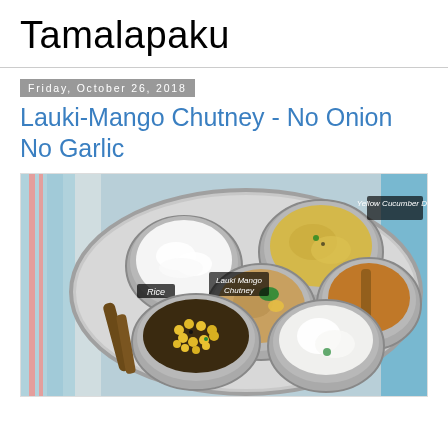Tamalapaku
Friday, October 26, 2018
Lauki-Mango Chutney - No Onion No Garlic
[Figure (photo): A thali (Indian meal platter) served on a silver plate on a blue and red striped cloth. The plate contains labeled portions: Rice (white bowl, top-left), Yellow Cucumber Dal (top-center), Lauki Mango Chutney (center), Drumstick Rasam (right), a corn/vegetable sabzi (bottom-left), and yogurt/curd (bottom-right).]